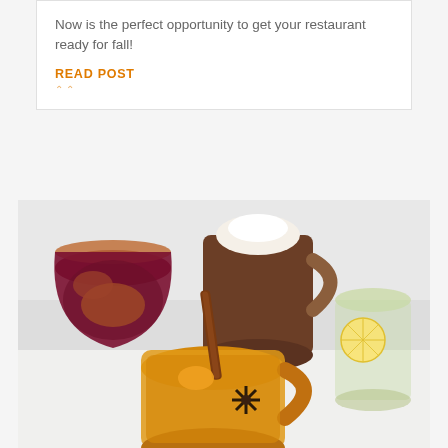Now is the perfect opportunity to get your restaurant ready for fall!
READ POST
[Figure (photo): Four autumn-themed drinks in glass mugs arranged on a white surface: a dark red wine sangria with orange slices and a sugared rim, a golden apple cider mug with a cinnamon stick and star anise garnish, a brown hot chocolate pitcher with whipped cream, and a clear glass with lemon slices.]